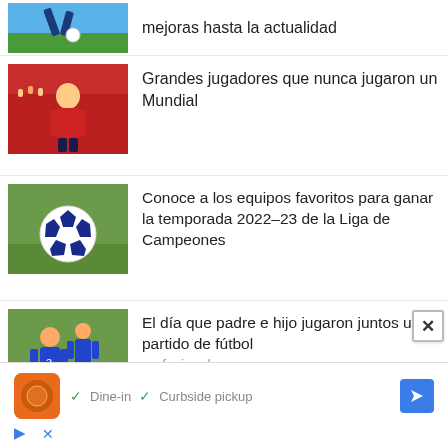[Figure (photo): Soccer player kicking ball with blue sky and green grass background]
mejoras hasta la actualidad
[Figure (photo): Soccer player in red jersey running on field with red crowd background]
Grandes jugadores que nunca jugaron un Mundial
[Figure (photo): Soccer ball on green grass field]
Conoce a los equipos favoritos para ganar la temporada 2022-23 de la Liga de Campeones
[Figure (photo): Two children in blue soccer jerseys viewed from behind on a field]
El día que padre e hijo jugaron juntos un partido de fútbol profesional
[Figure (screenshot): Advertisement banner showing restaurant with Dine-in and Curbside pickup options]